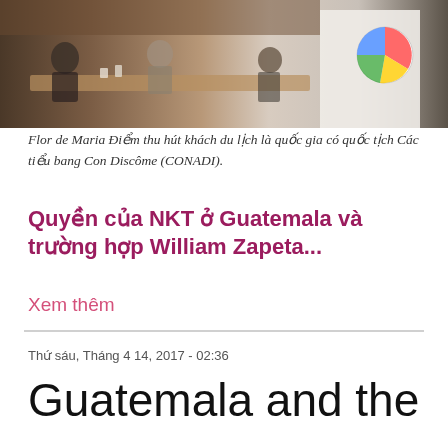[Figure (photo): A photograph showing people at a table or gathering, with a CONADI logo/flag visible on the right side. The scene appears to be an official or social event.]
Flor de Maria Điểm thu hút khách du lịch là quốc gia có quốc tịch Các tiểu bang Con Discôme (CONADI).
Quyền của NKT ở Guatemala và trường hợp William Zapeta...
Xem thêm
Thứ sáu, Tháng 4 14, 2017 - 02:36
Guatemala and the CRPD